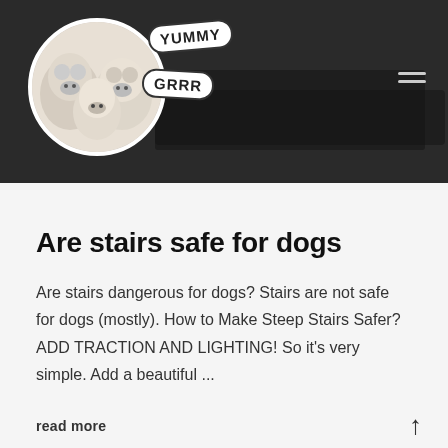[Figure (photo): Website header with dark background showing a circular dog photo with two speech bubbles saying 'YUMMY' and 'GRRR', plus a hamburger menu icon on the right.]
Are stairs safe for dogs
Are stairs dangerous for dogs? Stairs are not safe for dogs (mostly). How to Make Steep Stairs Safer? ADD TRACTION AND LIGHTING! So it's very simple. Add a beautiful ...
read more